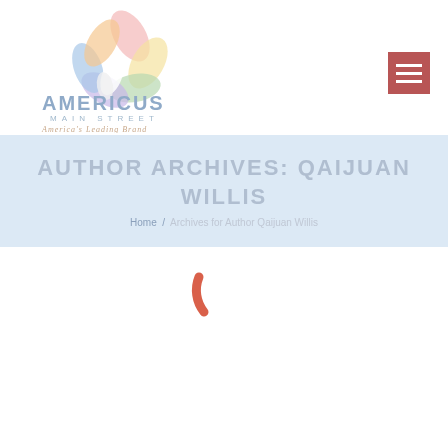[Figure (logo): Americus Main Street logo with colorful star/flower graphic and text 'AMERICUS MAIN STREET' with italic tagline below]
[Figure (other): Hamburger menu button - red/dark pink square with three white horizontal bars]
AUTHOR ARCHIVES: QAIJUAN WILLIS
Home / Archives for Author Qaijuan Willis
[Figure (other): Red loading spinner arc/semicircle]